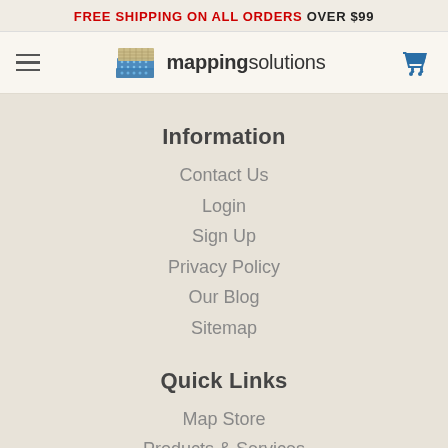FREE SHIPPING ON ALL ORDERS OVER $99
[Figure (logo): Mapping Solutions logo with layered grid icon]
Information
Contact Us
Login
Sign Up
Privacy Policy
Our Blog
Sitemap
Quick Links
Map Store
Products & Services
Advertising
Custom Maps